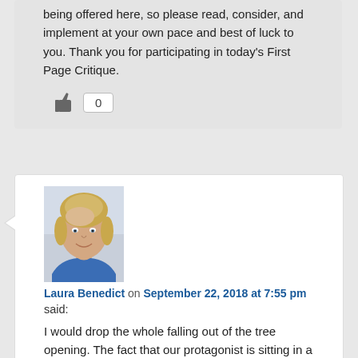being offered here, so please read, consider, and implement at your own pace and best of luck to you. Thank you for participating in today's First Page Critique.
[Figure (other): Thumbs up like icon with count badge showing 0]
[Figure (photo): Headshot photo of Laura Benedict, a woman with blond hair wearing a blue top]
Laura Benedict on September 22, 2018 at 7:55 pm said:
I would drop the whole falling out of the tree opening. The fact that our protagonist is sitting in a chair COMPLETELY PARALYZED is a really big deal. I'm not sure from what distance she's looking back, as it's all in simple past tense, but making the two experiences equivalent is unsettling. It